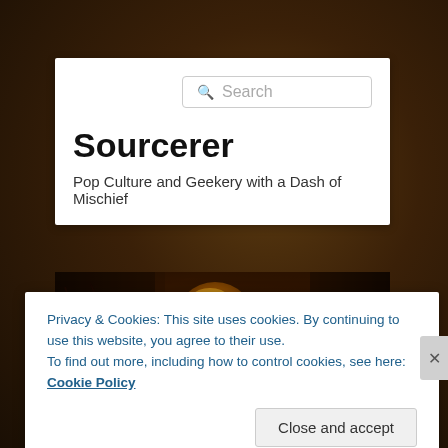[Figure (screenshot): Website screenshot of 'Sourcerer' blog with fantasy art background, search box, site title, tagline, hero image of fantasy character with glowing orb, and cookie consent banner]
Sourcerer
Pop Culture and Geekery with a Dash of Mischief
Privacy & Cookies: This site uses cookies. By continuing to use this website, you agree to their use.
To find out more, including how to control cookies, see here: Cookie Policy
Close and accept